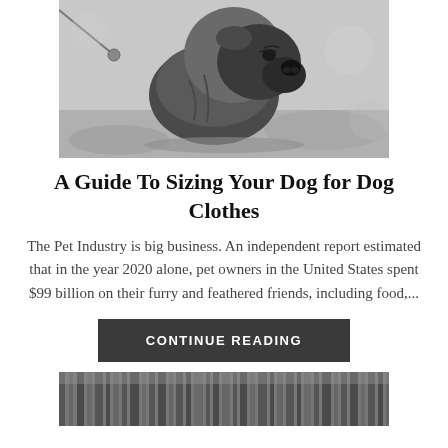[Figure (photo): Black and white photo of a French Bulldog wearing a hoodie/jacket, looking to the side, on a leash]
A Guide To Sizing Your Dog for Dog Clothes
The Pet Industry is big business. An independent report estimated that in the year 2020 alone, pet owners in the United States spent $99 billion on their furry and feathered friends, including food,...
CONTINUE READING
[Figure (photo): Black and white photo partially visible at the bottom of the page, appears to show a forest or trees]